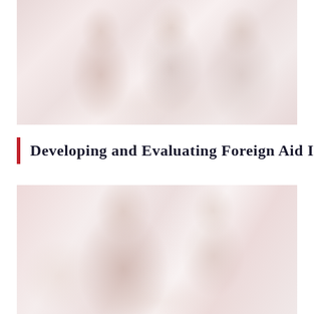[Figure (photo): Group of people, including individuals in headscarves, gathered together, likely in an educational or community setting. Faded/washed out photo in warm tones.]
Developing and Evaluating Foreign Aid Initiatives
[Figure (photo): Close-up of a person looking down, possibly reading or writing. Faded/washed out photo in warm tones.]